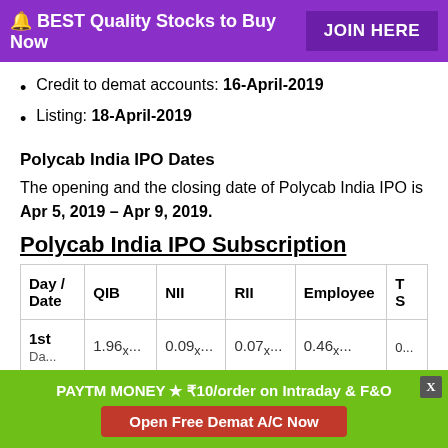🔔 BEST Quality Stocks to Buy Now  JOIN HERE
Credit to demat accounts: 16-April-2019
Listing: 18-April-2019
Polycab India IPO Dates
The opening and the closing date of Polycab India IPO is Apr 5, 2019 – Apr 9, 2019.
Polycab India IPO Subscription
| Day / Date | QIB | NII | RII | Employee | T... S... |
| --- | --- | --- | --- | --- | --- |
| 1st Day... | 1.96x... | 0.09x... | 0.07x... | 0.46x... | 0... |
PAYTM MONEY ★ ₹10/order on Intraday & F&O  Open Free Demat A/C Now